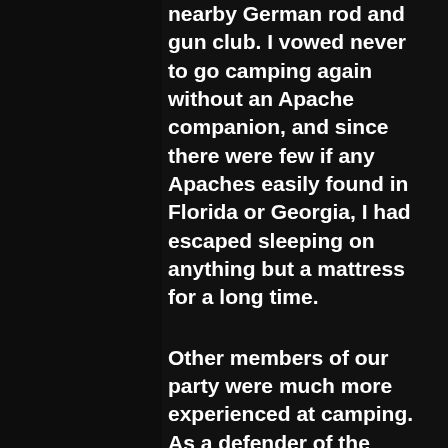nearby German rod and gun club. I vowed never to go camping again without an Apache companion, and since there were few if any Apaches easily found in Florida or Georgia, I had escaped sleeping on anything but a mattress for a long time.

Other members of our party were much more experienced at camping. As a defender of the outdoors and then an editor of Ranger Rick Magazine, Gerry Bishop had camped frequently in wilderness, as had  Pam Bartlett. I had met both in 2000 when we hiked the Florida Trail at St. Marks. Pam was full of wonder at the natural marvels around us on the hike and saw her first wild turkey then. Jonathan Zimmer, Lisa's husband,